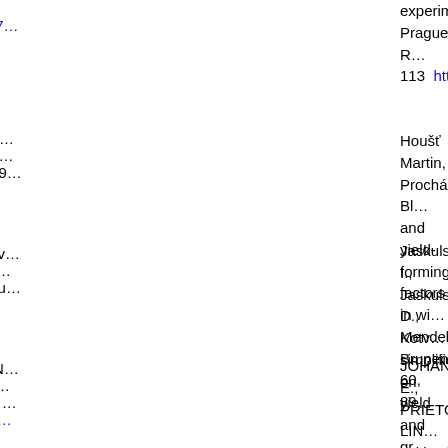experiment in Prague-R... 113  https://doi.org/10.17221/7...
Houšť Martin, Procházková Bl... and yield-forming factors in wi... Mendelianae Brunensis, 60, 89...
Jaskulska I., Jaskulski D., Kotv... simplifications on yield and gr... Scientiarum Polonorum, Agricu...
JOHANSSON E., PRIETO-LIN... cultivation year and fertilizer ra... mono- and polymeric proteins ... https://doi.org/10.1017/S0021...
Jug I., Jug D., Sabo M., Stipes... as affected by soil tillage syste...
Knox Jerry W., Wade Steven (... Change, 2, 378-378  https://do...